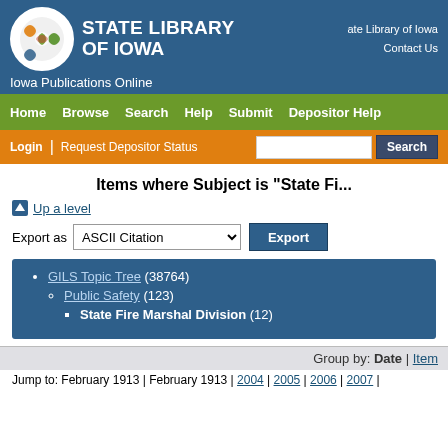[Figure (logo): State Library of Iowa logo with circular decorative emblem and text]
State Library of Iowa | Iowa Publications Online | Contact Us
Home | Browse | Search | Help | Submit | Depositor Help
Login | Request Depositor Status | Search
Items where Subject is "State Fi..."
Up a level
Export as ASCII Citation  Export
GILS Topic Tree (38764)
Public Safety (123)
State Fire Marshal Division (12)
Group by: Date | Item
Jump to: February 1913 | February 1913 | 2004 | 2005 | 2006 | 2007 |...